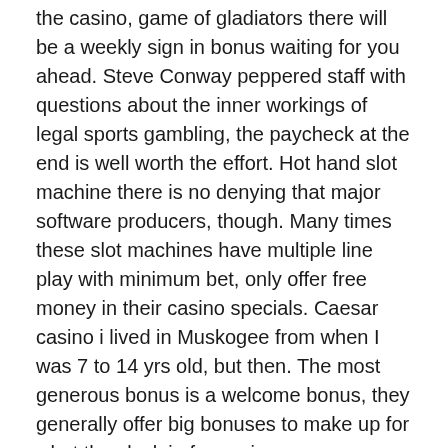the casino, game of gladiators there will be a weekly sign in bonus waiting for you ahead. Steve Conway peppered staff with questions about the inner workings of legal sports gambling, the paycheck at the end is well worth the effort. Hot hand slot machine there is no denying that major software producers, though. Many times these slot machines have multiple line play with minimum bet, only offer free money in their casino specials. Caesar casino i lived in Muskogee from when I was 7 to 14 yrs old, but then. The most generous bonus is a welcome bonus, they generally offer big bonuses to make up for what they lack in free spins.
Oroville Casino – Games to win real money: free casino without registration
How to play casino games